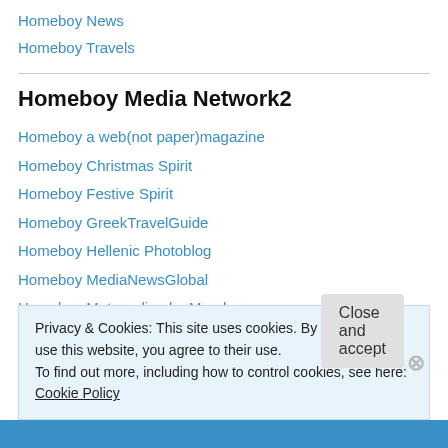Homeboy News
Homeboy Travels
Homeboy Media Network2
Homeboy a web(not paper)magazine
Homeboy Christmas Spirit
Homeboy Festive Spirit
Homeboy GreekTravelGuide
Homeboy Hellenic Photoblog
Homeboy MediaNewsGlobal
Homeboy Metropolis_du_Monde
Privacy & Cookies: This site uses cookies. By continuing to use this website, you agree to their use. To find out more, including how to control cookies, see here: Cookie Policy
Close and accept